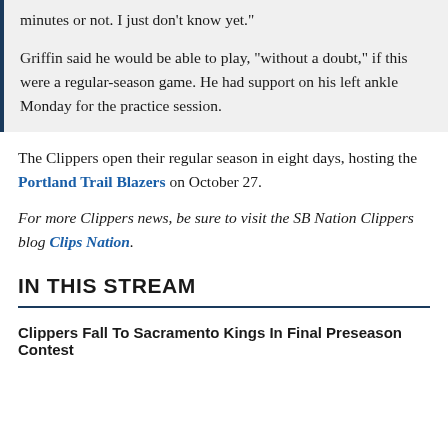minutes or not. I just don't know yet."
Griffin said he would be able to play, "without a doubt," if this were a regular-season game. He had support on his left ankle Monday for the practice session.
The Clippers open their regular season in eight days, hosting the Portland Trail Blazers on October 27.
For more Clippers news, be sure to visit the SB Nation Clippers blog Clips Nation.
IN THIS STREAM
Clippers Fall To Sacramento Kings In Final Preseason Contest